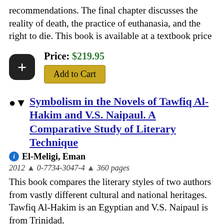recommendations. The final chapter discusses the reality of death, the practice of euthanasia, and the right to die. This book is available at a textbook price
Price: $219.95
Add to Cart
Symbolism in the Novels of Tawfiq Al-Hakim and V.S. Naipaul. A Comparative Study of Literary Technique
El-Meligi, Eman
2012 ▲ 0-7734-3047-4 ▲ 360 pages
This book compares the literary styles of two authors from vastly different cultural and national heritages. Tawfiq Al-Hakim is an Egyptian and V.S. Naipaul is from Trinidad.